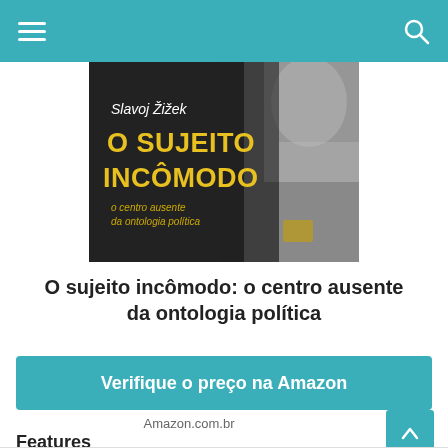Navigation bar with hamburger menu and search icon
[Figure (photo): Book cover of 'O Sujeito Incômodo: o centro ausente da ontologia política' by Slavoj Žižek, showing the book held against a blurred person background. The cover has a dark/black background with gold/yellow title text and a blurred grey human figure on the right side.]
O sujeito incômodo: o centro ausente da ontologia política
Verifique o preço na Amazon
Amazon.com.br
Features